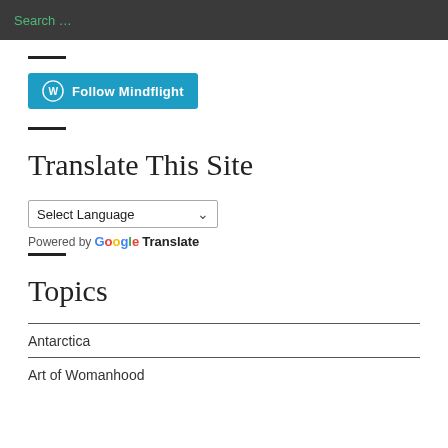Search ...
[Figure (other): WordPress Follow Mindflight button]
Translate This Site
[Figure (other): Select Language dropdown with Google Translate]
Topics
Antarctica
Art of Womanhood